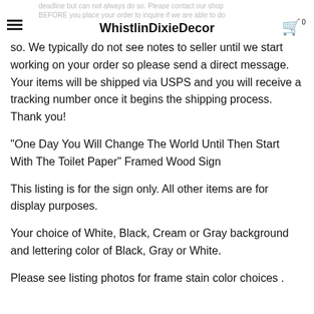WhistlinDixieDecor
deadline but can not always do so. Please contact our shop BEFORE you place your order to inquire if we are able to do so. We typically do not see notes to seller until we start working on your order so please send a direct message. Your items will be shipped via USPS and you will receive a tracking number once it begins the shipping process. Thank you!
"One Day You Will Change The World Until Then Start With The Toilet Paper" Framed Wood Sign
This listing is for the sign only. All other items are for display purposes.
Your choice of White, Black, Cream or Gray background and lettering color of Black, Gray or White.
Please see listing photos for frame stain color choices .